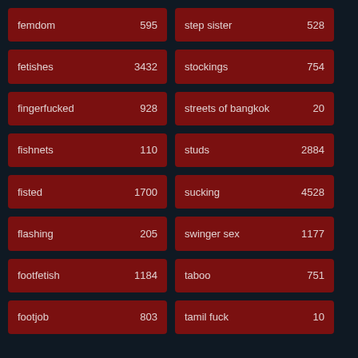femdom 595
step sister 528
fetishes 3432
stockings 754
fingerfucked 928
streets of bangkok 20
fishnets 110
studs 2884
fisted 1700
sucking 4528
flashing 205
swinger sex 1177
footfetish 1184
taboo 751
footjob 803
tamil fuck 10